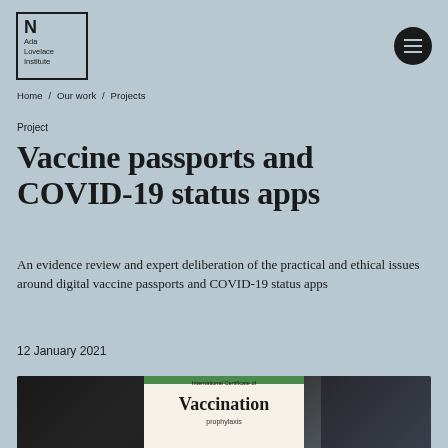[Figure (logo): Ada Lovelace Institute logo — black square outline with 'N' letterform and text 'Ada Lovelace Institute' inside]
[Figure (illustration): Circular dark hamburger/menu button icon]
Home / Our work / Projects
Project
Vaccine passports and COVID-19 status apps
An evidence review and expert deliberation of the practical and ethical issues around digital vaccine passports and COVID-19 status apps
12 January 2021
[Figure (photo): Photograph of a smartphone showing an International Certificate of Vaccination document, displayed against a dark blurred background]